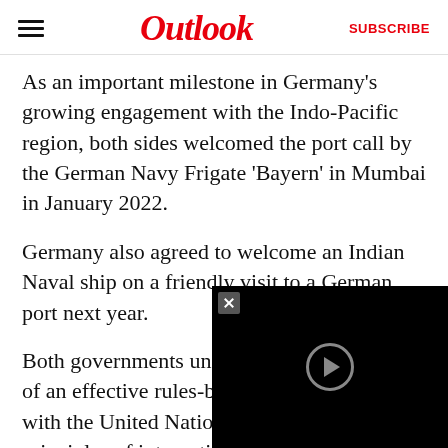Outlook | SUBSCRIBE
As an important milestone in Germany's growing engagement with the Indo-Pacific region, both sides welcomed the port call by the German Navy Frigate 'Bayern' in Mumbai in January 2022.
Germany also agreed to welcome an Indian Naval ship on a friendly visit to a German port next year.
Both governments underlined the importance of an effective rules-based international order with the United Nations and the fundamental principles of international law including the Charter of the United Nations, in particular including respect for the sovereignty and territorial integrity of all states.
[Figure (other): Black video player overlay with close button and circular play button icon]